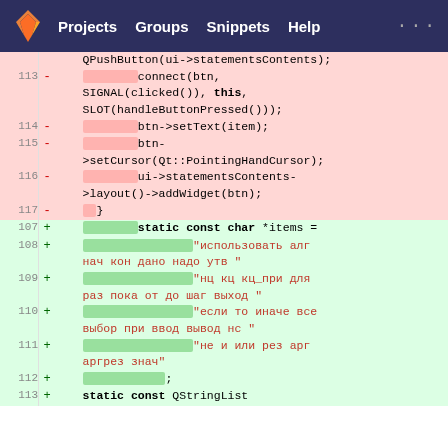GitLab navigation: Projects, Groups, Snippets, Help
[Figure (screenshot): GitLab diff view showing code changes. Deleted lines 113-117 (pink) show C++ Qt code with connect, btn->setText, btn->setCursor, ui->statementsContents->layout()->addWidget, closing brace. Added lines 107-113 (green) show static const char *items array with Russian keyword strings.]